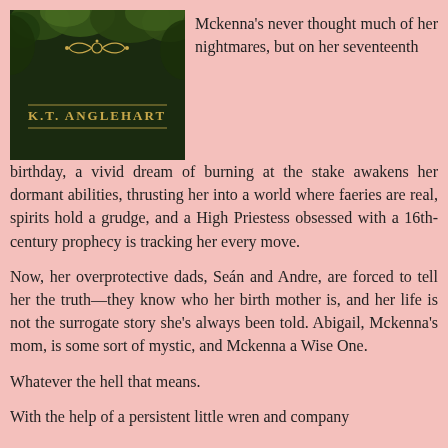[Figure (illustration): Book cover for a novel by K.T. Anglehart, dark background with green foliage and gold ornamental design, author name in gold text]
Mckenna's never thought much of her nightmares, but on her seventeenth birthday, a vivid dream of burning at the stake awakens her dormant abilities, thrusting her into a world where faeries are real, spirits hold a grudge, and a High Priestess obsessed with a 16th-century prophecy is tracking her every move.
Now, her overprotective dads, Seán and Andre, are forced to tell her the truth—they know who her birth mother is, and her life is not the surrogate story she's always been told. Abigail, Mckenna's mom, is some sort of mystic, and Mckenna a Wise One.
Whatever the hell that means.
With the help of a persistent little wren and company